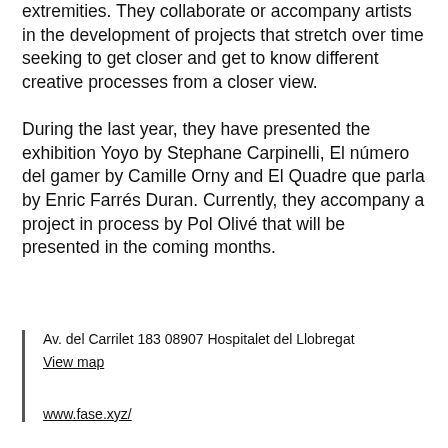extremities. They collaborate or accompany artists in the development of projects that stretch over time seeking to get closer and get to know different creative processes from a closer view. During the last year, they have presented the exhibition Yoyo by Stephane Carpinelli, El número del gamer by Camille Orny and El Quadre que parla by Enric Farrés Duran. Currently, they accompany a project in process by Pol Olivé that will be presented in the coming months.
Av. del Carrilet 183 08907 Hospitalet del Llobregat
View map


www.fase.xyz/